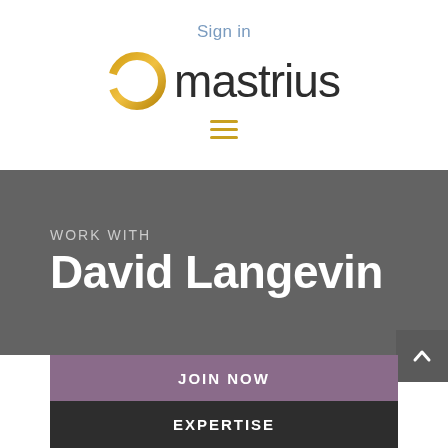Sign in
[Figure (logo): Mastrius logo: a gold circular ring icon followed by the text 'mastrius' in dark gray sans-serif font]
[Figure (other): Hamburger menu icon with three horizontal gold lines]
WORK WITH
David Langevin
[Figure (other): Scroll-to-top button: dark gray square with upward-pointing chevron arrow]
JOIN NOW
EXPERTISE